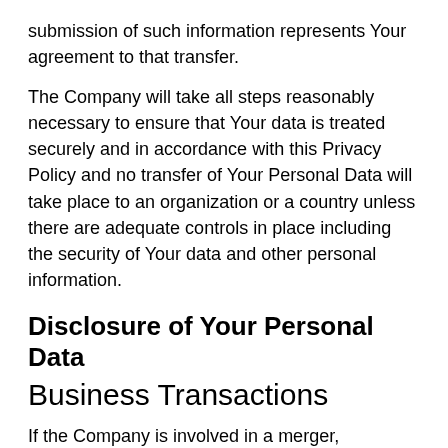submission of such information represents Your agreement to that transfer.
The Company will take all steps reasonably necessary to ensure that Your data is treated securely and in accordance with this Privacy Policy and no transfer of Your Personal Data will take place to an organization or a country unless there are adequate controls in place including the security of Your data and other personal information.
Disclosure of Your Personal Data
Business Transactions
If the Company is involved in a merger, acquisition or asset sale, Your Personal Data may be transferred. We will provide notice before Your Personal Data is transferred and becomes subject to a different Privacy Policy.